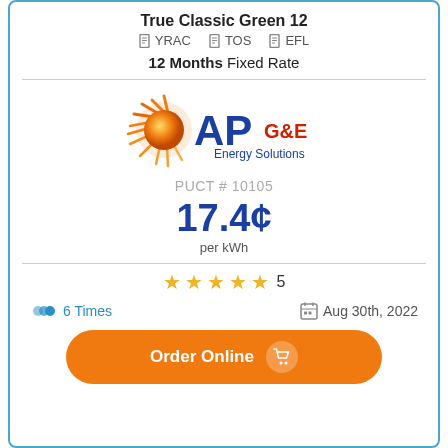True Classic Green 12
YRAC  TOS  EFL
12 Months Fixed Rate
[Figure (logo): AP G&E Energy Solutions logo with orange sun/rays graphic on left and blue 'AP' text with red 'G&E' and blue 'Energy Solutions' text]
PUCT # 10105
17.4¢ per kWh
★★★★★ 5
6 Times
Aug 30th, 2022
Order Online